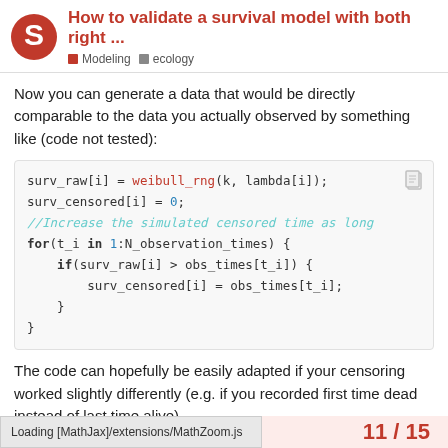How to validate a survival model with both right ... | Modeling | ecology
Now you can generate a data that would be directly comparable to the data you actually observed by something like (code not tested):
[Figure (screenshot): Code block showing Stan/C++ style code for censoring simulation: surv_raw[i] = weibull_rng(k, lambda[i]); surv_censored[i] = 0; //Increase the simulated censored time as long for(t_i in 1:N_observation_times) { if(surv_raw[i] > obs_times[t_i]) { surv_censored[i] = obs_times[t_i]; } }]
The code can hopefully be easily adapted if your censoring worked slightly differently (e.g. if you recorded first time dead instead of last time alive).
Does that make sense?
Loading [MathJax]/extensions/MathZoom.js | 11 / 15